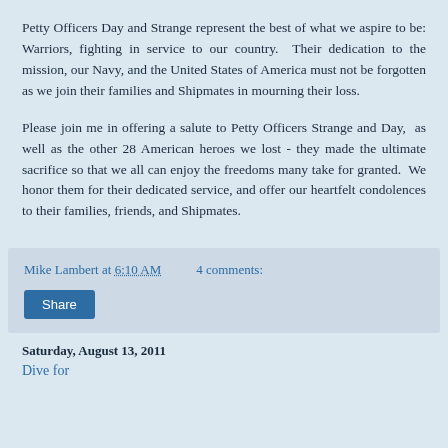Petty Officers Day and Strange represent the best of what we aspire to be: Warriors, fighting in service to our country.  Their dedication to the mission, our Navy, and the United States of America must not be forgotten as we join their families and Shipmates in mourning their loss.
Please join me in offering a salute to Petty Officers Strange and Day,  as well as the other 28 American heroes we lost - they made the ultimate sacrifice so that we all can enjoy the freedoms many take for granted.  We honor them for their dedicated service, and offer our heartfelt condolences to their families, friends, and Shipmates.
Mike Lambert at 6:10 AM    4 comments:
Share
Saturday, August 13, 2011